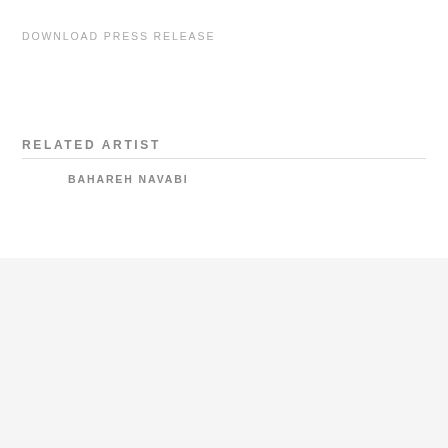DOWNLOAD PRESS RELEASE
RELATED ARTIST
BAHAREH NAVABI
COPYRIGHT © 2022 DASTAN GALLERY
Manage cookies
SIGN UP TO DASTAN'S MAILING LIST
[Figure (other): Four gray circular social media icon buttons]